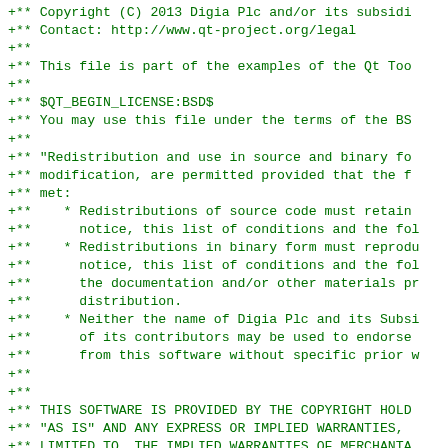+** Copyright (C) 2013 Digia Plc and/or its subsidi
+** Contact: http://www.qt-project.org/legal
+**
+** This file is part of the examples of the Qt Too
+**
+** $QT_BEGIN_LICENSE:BSD$
+** You may use this file under the terms of the BS
+**
+** "Redistribution and use in source and binary fo
+** modification, are permitted provided that the f
+** met:
+**    * Redistributions of source code must retain
+**      notice, this list of conditions and the fol
+**    * Redistributions in binary form must reprodu
+**      notice, this list of conditions and the fol
+**      the documentation and/or other materials pr
+**      distribution.
+**    * Neither the name of Digia Plc and its Subsi
+**      of its contributors may be used to endorse
+**      from this software without specific prior w
+**
+**
+** THIS SOFTWARE IS PROVIDED BY THE COPYRIGHT HOLD
+** "AS IS" AND ANY EXPRESS OR IMPLIED WARRANTIES,
+** LIMITED TO, THE IMPLIED WARRANTIES OF MERCHANTA
+** A PARTICULAR PURPOSE ARE DISCLAIMED. IN NO EVEN
+** OWNER OR CONTRIBUTORS BE LIABLE FOR ANY DIRECT,
+** SPECIAL, EXEMPLARY, OR CONSEQUENTIAL DAMAGES (I
+** LIMITED TO, PROCUREMENT OF SUBSTITUTE GOODS OR
+** DATA, OR PROFITS; OR BUSINESS INTERRUPTION) HOW